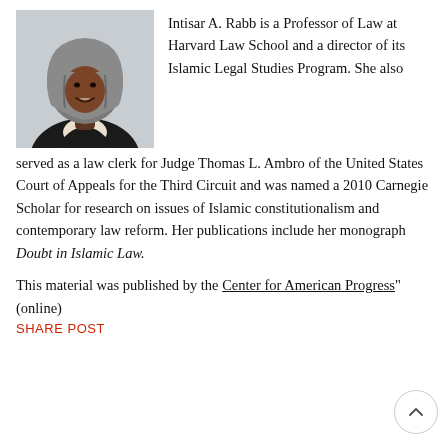[Figure (photo): Headshot photo of Intisar A. Rabb, a woman wearing a gray hijab and dark jacket with light collar, smiling]
Intisar A. Rabb is a Professor of Law at Harvard Law School and a director of its Islamic Legal Studies Program. She also served as a law clerk for Judge Thomas L. Ambro of the United States Court of Appeals for the Third Circuit and was named a 2010 Carnegie Scholar for research on issues of Islamic constitutionalism and contemporary law reform. Her publications include her monograph Doubt in Islamic Law.
This material was published by the Center for American Progress" (online)
SHARE POST